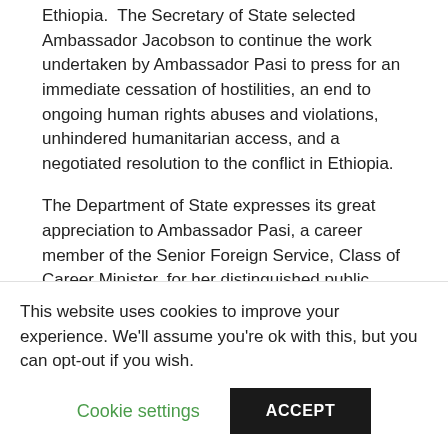Ethiopia.  The Secretary of State selected Ambassador Jacobson to continue the work undertaken by Ambassador Pasi to press for an immediate cessation of hostilities, an end to ongoing human rights abuses and violations, unhindered humanitarian access, and a negotiated resolution to the conflict in Ethiopia.
The Department of State expresses its great appreciation to Ambassador Pasi, a career member of the Senior Foreign Service, Class of Career Minister, for her distinguished public service in advancing the values and interests of the United States around the globe, a career marked by three ambassadorial assignments and senior State Department leadership positions in Washington, D.C. [text continues below fold]
This website uses cookies to improve your experience. We'll assume you're ok with this, but you can opt-out if you wish.